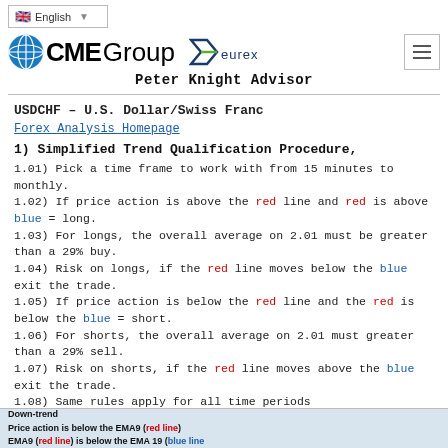English | CME Group Eurex | Peter Knight Advisor
USDCHF – U.S. Dollar/Swiss Franc
Forex Analysis Homepage
1) Simplified Trend Qualification Procedure,
1.01) Pick a time frame to work with from 15 minutes to monthly.
1.02) If price action is above the red line and red is above blue = long.
1.03) For longs, the overall average on 2.01 must be greater than a 29% buy.
1.04) Risk on longs, if the red line moves below the blue exit the trade.
1.05) If price action is below the red line and the red is below the blue = short.
1.06) For shorts, the overall average on 2.01 must greater than a 29% sell.
1.07) Risk on shorts, if the red line moves above the blue exit the trade.
1.08) Same rules apply for all time periods
Prices are updated every 10 minutes if you have questions send me a message.
[Figure (screenshot): Chart strip showing Down-trend annotation: Price action is below the EMA9 (red line), EMA9 (red line) is below the EMA 19 (blue line)]